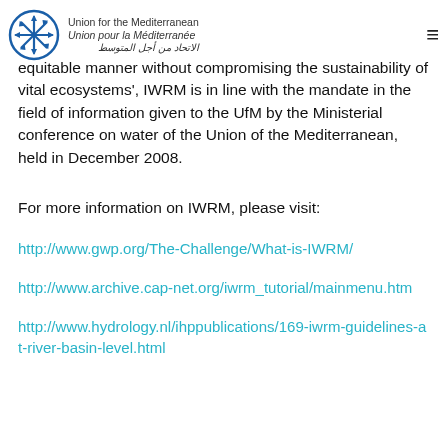Union for the Mediterranean / Union pour la Méditerranée / الاتحاد من أجل المتوسط
equitable manner without compromising the sustainability of vital ecosystems', IWRM is in line with the mandate in the field of information given to the UfM by the Ministerial conference on water of the Union of the Mediterranean, held in December 2008.
For more information on IWRM, please visit:
http://www.gwp.org/The-Challenge/What-is-IWRM/
http://www.archive.cap-net.org/iwrm_tutorial/mainmenu.htm
http://www.hydrology.nl/ihppublications/169-iwrm-guidelines-at-river-basin-level.html